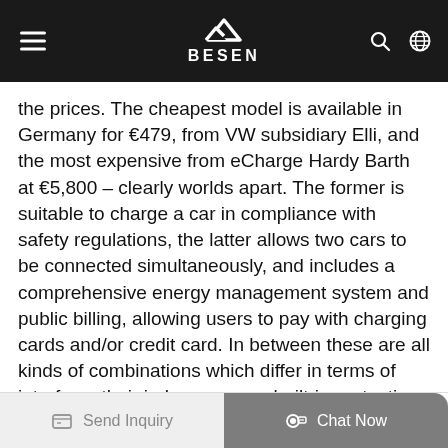BESEN
the prices. The cheapest model is available in Germany for €479, from VW subsidiary Elli, and the most expensive from eCharge Hardy Barth at €5,800 – clearly worlds apart. The former is suitable to charge a car in compliance with safety regulations, the latter allows two cars to be connected simultaneously, and includes a comprehensive energy management system and public billing, allowing users to pay with charging cards and/or credit card. In between these are all kinds of combinations which differ in terms of interface, their in-house apps, built-in protection components and other features. Different solutions are needed across four segments: single-family home, apartment building or multi-family home